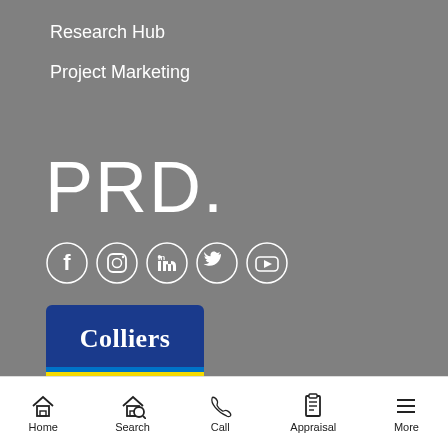Research Hub
Project Marketing
[Figure (logo): PRD. logo in white text on grey background]
[Figure (infographic): Social media icons: Facebook, Instagram, LinkedIn, Twitter, YouTube — white icons in white circles]
[Figure (logo): Colliers logo — blue background with white text 'Colliers' and colored stripe bar (blue, yellow, red) at bottom]
PRD is a Colliers Company
Privacy & Terms
Powered by ListOnce
Home  Search  Call  Appraisal  More